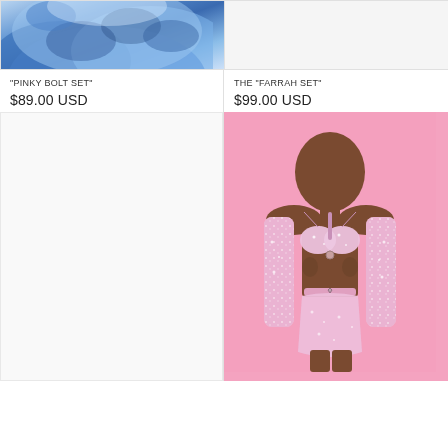[Figure (photo): Partial view of blue tie-dye clothing item, cropped at top]
[Figure (photo): White/empty product image placeholder for Farrah Set]
"PINKY BOLT SET"
$89.00 USD
THE "FARRAH SET"
$99.00 USD
[Figure (photo): Empty product image placeholder for second item]
[Figure (photo): Model wearing sparkly pink holographic bikini set with matching arm sleeves and mini skirt on pink background]